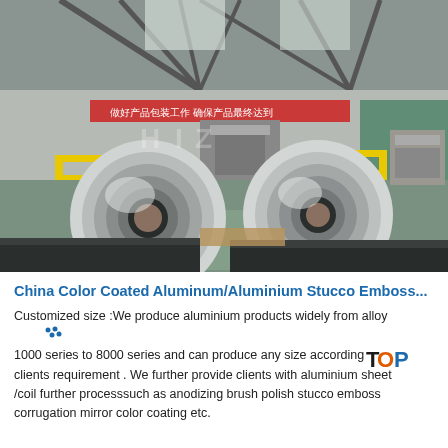[Figure (photo): Factory interior showing two large aluminum coil rolls on a warehouse floor. Industrial setting with steel roof trusses, yellow safety barriers, machinery in background, and stacked aluminum sheets. Chinese text banner visible on wall in background.]
China Color Coated Aluminum/Aluminium Stucco Emboss...
Customized size :We produce aluminium products widely from alloy 1000 series to 8000 series and can produce any size according to clients requirement . We further provide clients with aluminium sheet /coil further processsuch as anodizing brush polish stucco emboss corrugation mirror color coating etc.